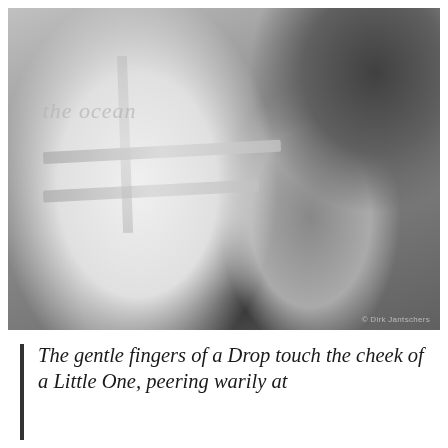[Figure (photo): Black and white photograph showing a person from behind wearing a white reflective safety vest with 'the ocean' written on it and two horizontal reflective stripes. To the right stands another person in dark clothing. The ground appears to be gravel or rubble. A photo credit reads '© Dirk Jantschers' in the lower right corner.]
The gentle fingers of a Drop touch the cheek of a Little One, peering warily at